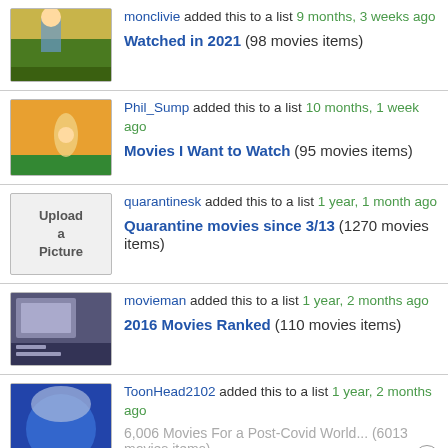monclivie added this to a list 9 months, 3 weeks ago — Watched in 2021 (98 movies items)
Phil_Sump added this to a list 10 months, 1 week ago — Movies I Want to Watch (95 movies items)
quarantinesk added this to a list 1 year, 1 month ago — Quarantine movies since 3/13 (1270 movies items)
movieman added this to a list 1 year, 2 months ago — 2016 Movies Ranked (110 movies items)
ToonHead2102 added this to a list 1 year, 2 months ago — 6,006 Movies For a Post-Covid World... (6013 movies items)